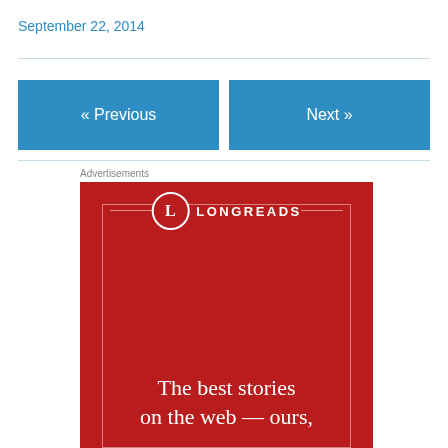September 22, 2014
« Previous
Next »
Advertisements
[Figure (logo): Longreads advertisement banner: red background with Longreads logo (circle with L) and tagline 'The best stories on the web – ours,']